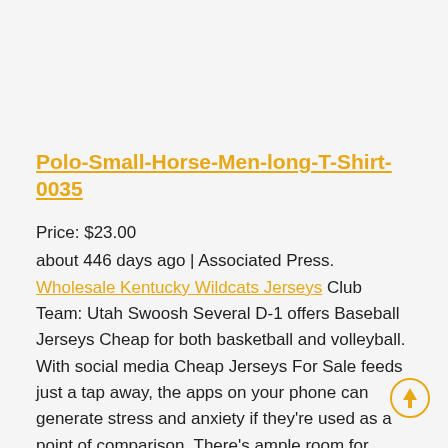Polo-Small-Horse-Men-long-T-Shirt-0035
Price: $23.00
about 446 days ago | Associated Press. Wholesale Kentucky Wildcats Jerseys Club Team: Utah Swoosh Several D-1 offers Baseball Jerseys Cheap for both basketball and volleyball. With social media Cheap Jerseys For Sale feeds just a tap away, the apps on your phone can generate stress and anxiety if they're used as a point of comparison. There's ample room for adults in the second-row seats, and the multifunction Baseball Jerseys For Sale middle seat is useful for